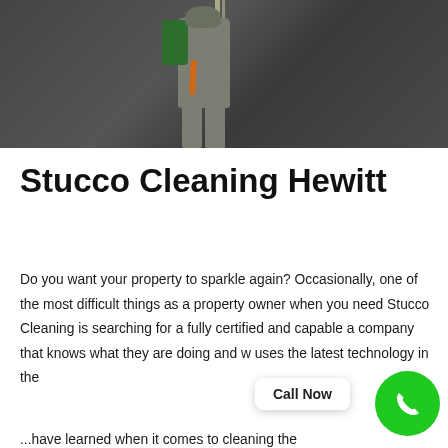[Figure (photo): A worker in gray overalls with a green backpack/equipment harness rappelling or working on a dark wall surface, viewed from below]
Stucco Cleaning Hewitt
Do you want your property to sparkle again? Occasionally, one of the most difficult things as a property owner when you need Stucco Cleaning is searching for a fully certified and capable a company that knows what they are doing and uses the latest technology in the...
Call Now
...have learned when it comes to cleaning the